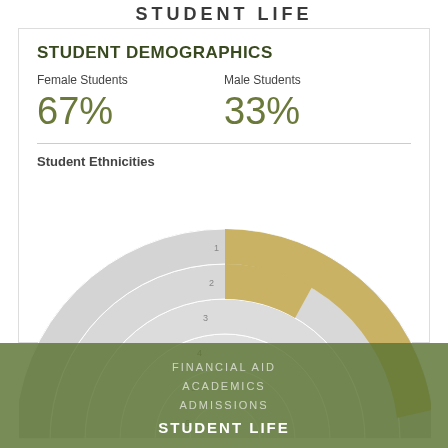STUDENT LIFE
STUDENT DEMOGRAPHICS
Female Students 67%
Male Students 33%
Student Ethnicities
[Figure (other): Concentric semicircle radar-style chart showing Student Ethnicities with 6 rings labeled 1-6. Two arcs highlighted in gold/tan color on the outermost rings (1 and 2).]
FINANCIAL AID  ACADEMICS  ADMISSIONS  STUDENT LIFE